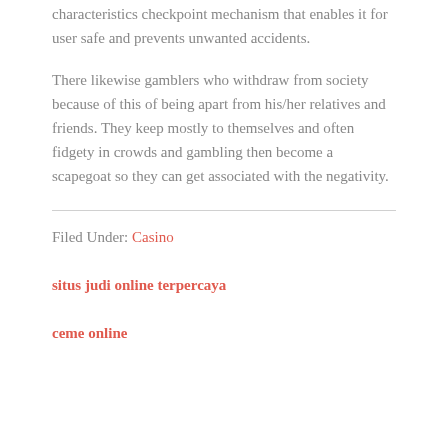characteristics checkpoint mechanism that enables it for user safe and prevents unwanted accidents.
There likewise gamblers who withdraw from society because of this of being apart from his/her relatives and friends. They keep mostly to themselves and often fidgety in crowds and gambling then become a scapegoat so they can get associated with the negativity.
Filed Under: Casino
situs judi online terpercaya
ceme online